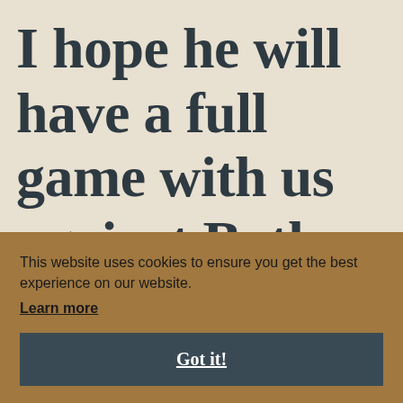I hope he will have a full game with us against Bath on March 27.
This website uses cookies to ensure you get the best experience on our website. Learn more
Got it!